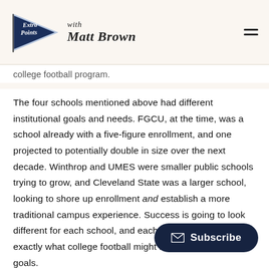Extra Points with Matt Brown
college football program.
The four schools mentioned above had different institutional goals and needs. FGCU, at the time, was a school already with a five-figure enrollment, and one projected to potentially double in size over the next decade. Winthrop and UMES were smaller public schools trying to grow, and Cleveland State was a larger school, looking to shore up enrollment and establish a more traditional campus experience. Success is going to look different for each school, and each paper tried to tie exactly what college football might mean to a school's goals.
Subscribe